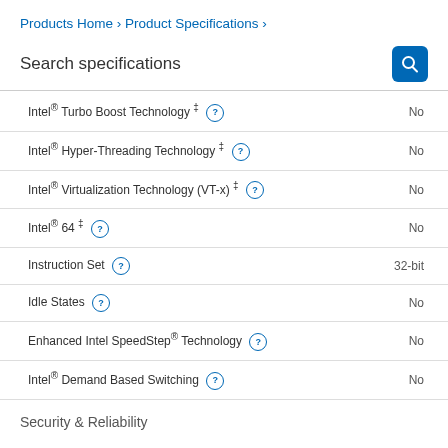Products Home › Product Specifications ›
Search specifications
| Specification | Value |
| --- | --- |
| Intel® Turbo Boost Technology ‡ | No |
| Intel® Hyper-Threading Technology ‡ | No |
| Intel® Virtualization Technology (VT-x) ‡ | No |
| Intel® 64 ‡ | No |
| Instruction Set | 32-bit |
| Idle States | No |
| Enhanced Intel SpeedStep® Technology | No |
| Intel® Demand Based Switching | No |
Security & Reliability